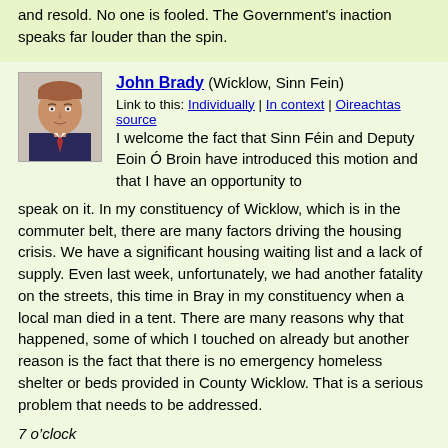and resold. No one is fooled. The Government's inaction speaks far louder than the spin.
[Figure (photo): Headshot photo of John Brady, a man in a suit]
John Brady (Wicklow, Sinn Fein)
Link to this: Individually | In context | Oireachtas source
I welcome the fact that Sinn Féin and Deputy Eoin Ó Broin have introduced this motion and that I have an opportunity to speak on it. In my constituency of Wicklow, which is in the commuter belt, there are many factors driving the housing crisis. We have a significant housing waiting list and a lack of supply. Even last week, unfortunately, we had another fatality on the streets, this time in Bray in my constituency when a local man died in a tent. There are many reasons why that happened, some of which I touched on already but another reason is the fact that there is no emergency homeless shelter or beds provided in County Wicklow. That is a serious problem that needs to be addressed.
7 o&rsquo;clock
The Minister, Deputy Eoghan Murphy, visited County Wicklow last week to turn the sod on a 20-unit development in Rathdrum. It is a very welcome start, although there is a long way to go. In other areas of the county such as Blessington, there are huge problems in terms of infrastructure. Irish Water has confirmed that there is a serious problem with waste water and for that reason, that there will be more additional d...